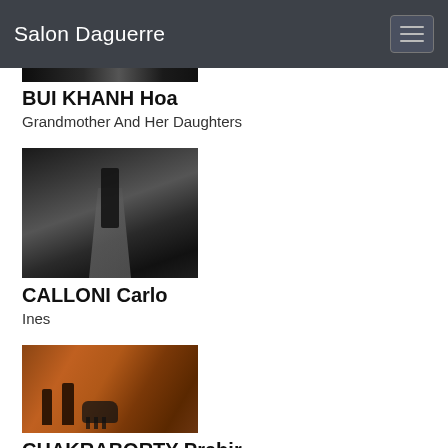Salon Daguerre
[Figure (photo): Partial black and white photograph at top of page, partially cropped]
BUI KHANH Hoa
Grandmother And Her Daughters
[Figure (photo): Black and white photo of a woman in dark clothing standing on a road holding a suitcase]
CALLONI Carlo
Ines
[Figure (photo): Color photo showing silhouettes of people and a cow against a warm orange/brown wall]
CHAKRABORTY Prabir